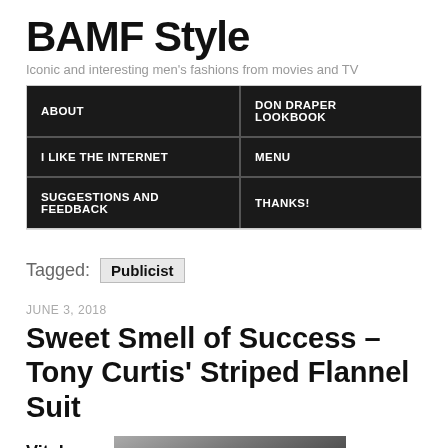BAMF Style
Iconic and interesting men's fashions from movies and TV
| ABOUT | DON DRAPER LOOKBOOK |
| I LIKE THE INTERNET | MENU |
| SUGGESTIONS AND FEEDBACK | THANKS! |
Tagged:  Publicist
JUNE 3, 2018
Sweet Smell of Success – Tony Curtis' Striped Flannel Suit
Vitals
[Figure (photo): Black and white photo of Tony Curtis in striped flannel suit from Sweet Smell of Success]